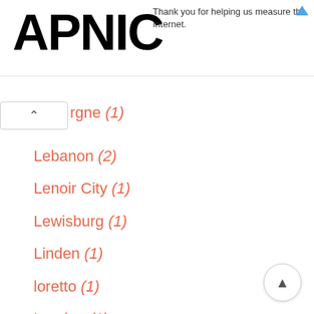APNIC — Thank you for helping us measure the Internet.
rgne (1)
Lebanon (2)
Lenoir City (1)
Lewisburg (1)
Linden (1)
loretto (1)
Loudon (1)
Louisville (1)
Madison (2)
Manchester (2)